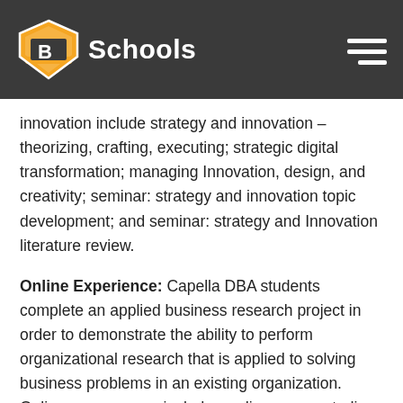B Schools
innovation include strategy and innovation – theorizing, crafting, executing; strategic digital transformation; managing Innovation, design, and creativity; seminar: strategy and innovation topic development; and seminar: strategy and Innovation literature review.
Online Experience: Capella DBA students complete an applied business research project in order to demonstrate the ability to perform organizational research that is applied to solving business problems in an existing organization. Online courses may include readings, case studies, simulations, group